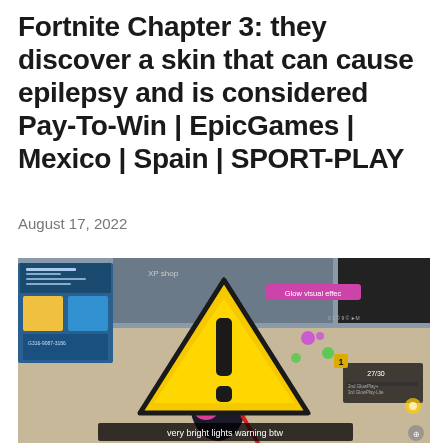Fortnite Chapter 3: they discover a skin that can cause epilepsy and is considered Pay-To-Win | EpicGames | Mexico | Spain | SPORT-PLAY
August 17, 2022
[Figure (screenshot): Screenshot of Fortnite Chapter 3 gameplay showing a character with glowing effects, a large yellow warning triangle with exclamation mark overlaid, 'Glow visual effec' text visible in pink on the right side, 'XP shop' label, and subtitle 'very bright lights warning btw' at the bottom.]